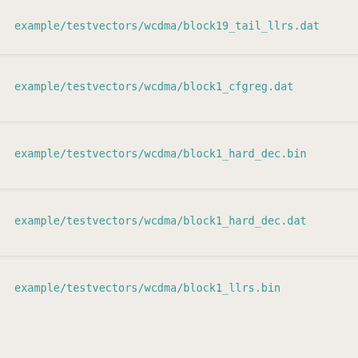example/testvectors/wcdma/block19_tail_llrs.dat
example/testvectors/wcdma/block1_cfgreg.dat
example/testvectors/wcdma/block1_hard_dec.bin
example/testvectors/wcdma/block1_hard_dec.dat
example/testvectors/wcdma/block1_llrs.bin